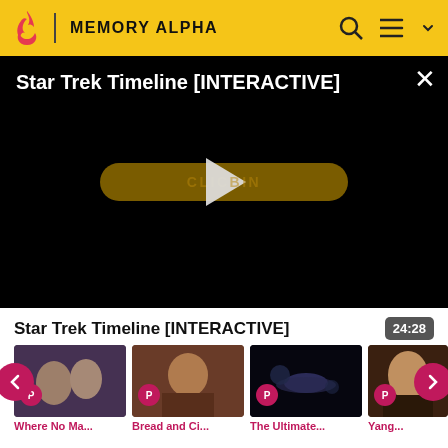Memory Alpha
[Figure (screenshot): Video player with black background showing title 'Star Trek Timeline [INTERACTIVE]' and a CLICK TO BEGIN button with play triangle overlay]
Star Trek Timeline [INTERACTIVE]
24:28
[Figure (photo): Thumbnail: Where No Ma... - two Star Trek characters]
[Figure (photo): Thumbnail: Bread and Ci... - Star Trek character]
[Figure (photo): Thumbnail: The Ultimate... - starships in space]
[Figure (photo): Thumbnail: Yang... - close-up of male character]
Where No Ma...
Bread and Ci...
The Ultimate...
Yang...